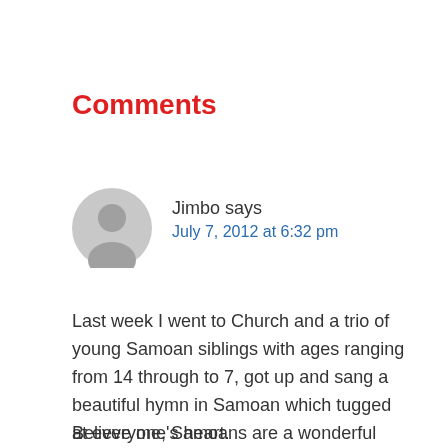Comments
[Figure (illustration): Generic user avatar icon — grey circle with silhouette of a person]
Jimbo says
July 7, 2012 at 6:32 pm
Last week I went to Church and a trio of young Samoan siblings with ages ranging from 14 through to 7, got up and sang a beautiful hymn in Samoan which tugged at everyone's heart.
Believe me, Samoans are a wonderful people, well